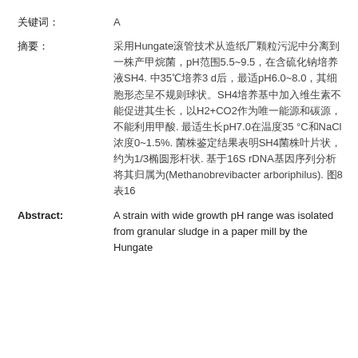关键词: A
摘要: 采用Hungate滚管技术从造纸厂颗粒污泥中分离到一株产甲烷菌，pH范围5.5~9.5，在含硫化钠培养液SH4. 中35℃培养3 d后，最适pH6.0~8.0，其细胞形态呈不规则球状。SH4培养基中加入维生素不能促进其生长，以H2+CO2作为唯一能源和碳源，不能利用甲酸. 最适生长pH7.0在温度35 °C和NaCl浓度0~1.5%. 菌株鉴定结果表明SH4菌株叶片状，约为1/3椭圆形杆状. 基于16S rDNA基因序列分析将其归属为(Methanobrevibacter arboriphilus). 图8 表16
Abstract: A strain with wide growth pH range was isolated from granular sludge in a paper mill by the Hungate